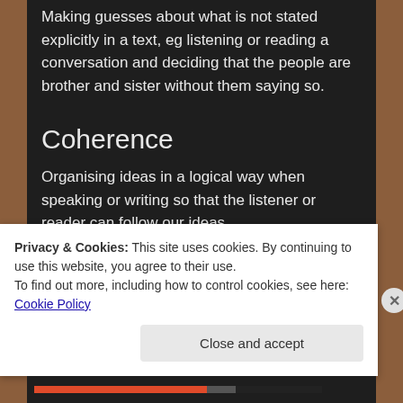Making guesses about what is not stated explicitly in a text, eg listening or reading a conversation and deciding that the people are brother and sister without them saying so.
Coherence
Organising ideas in a logical way when speaking or writing so that the listener or reader can follow our ideas.
Cohesion
Privacy & Cookies: This site uses cookies. By continuing to use this website, you agree to their use.
To find out more, including how to control cookies, see here: Cookie Policy